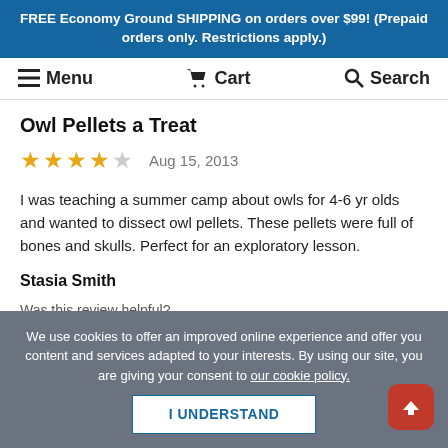FREE Economy Ground SHIPPING on orders over $99! (Prepaid orders only. Restrictions apply.)
Menu  Cart  Search
Owl Pellets a Treat
★★★★☆  Aug 15, 2013
I was teaching a summer camp about owls for 4-6 yr olds and wanted to dissect owl pellets. These pellets were full of bones and skulls. Perfect for an exploratory lesson.
Stasia Smith
Was this review helpful?
👍0  👎0
We use cookies to offer an improved online experience and offer you content and services adapted to your interests. By using our site, you are giving your consent to our cookie policy.
I UNDERSTAND